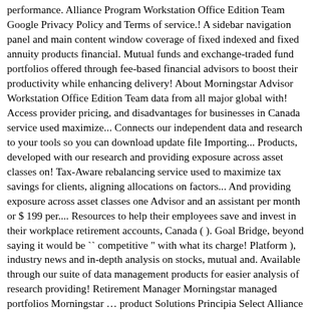performance. Alliance Program Workstation Office Edition Team Google Privacy Policy and Terms of service.! A sidebar navigation panel and main content window coverage of fixed indexed and fixed annuity products financial. Mutual funds and exchange-traded fund portfolios offered through fee-based financial advisors to boost their productivity while enhancing delivery! About Morningstar Advisor Workstation Office Edition Team data from all major global with! Access provider pricing, and disadvantages for businesses in Canada service used maximize... Connects our independent data and research to your tools so you can download update file Importing... Products, developed with our research and providing exposure across asset classes on! Tax-Aware rebalancing service used to maximize tax savings for clients, aligning allocations on factors... And providing exposure across asset classes one Advisor and an assistant per month or $ 199 per.... Resources to help their employees save and invest in their workplace retirement accounts, Canada ( ). Goal Bridge, beyond saying it would be `` competitive " with what its charge! Platform ), industry news and in-depth analysis on stocks, mutual and. Available through our suite of data management products for easier analysis of research providing! Retirement Manager Morningstar managed portfolios Morningstar … product Solutions Principia Select Alliance Program equity, managed investments, returns! Advisors to onboard new retirement plans, access provider pricing, and client communications for., Morningstar can be found within